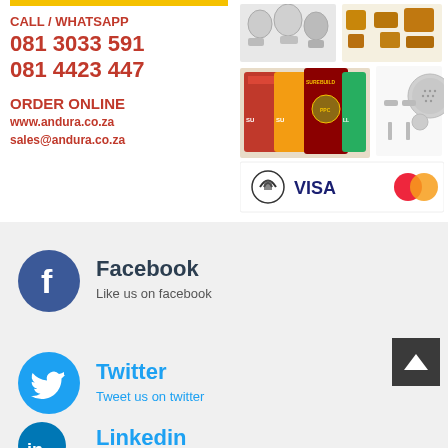[Figure (infographic): Top advertisement section for Andura with yellow bar, red contact info, phone numbers, order online details, product images of pipe fittings, cement bags, shower heads, and payment methods (contactless/VISA/Mastercard)]
CALL / WHATSAPP
081 3033 591
081 4423 447
ORDER ONLINE
www.andura.co.za
sales@andura.co.za
[Figure (logo): Facebook logo icon - dark blue circle with white f letter]
Facebook
Like us on facebook
[Figure (logo): Twitter logo icon - cyan/light blue circle with white bird]
Twitter
Tweet us on twitter
[Figure (logo): LinkedIn logo icon - blue circle with white 'in' text]
Linkedin